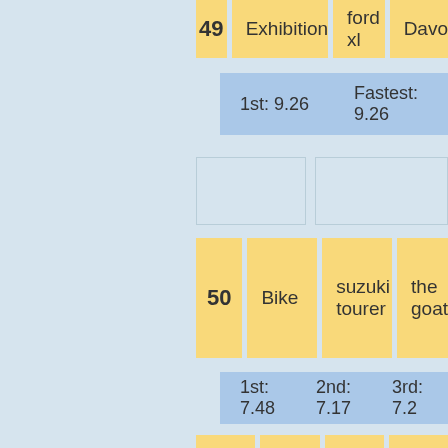| # | Event | Vehicle | Alias |
| --- | --- | --- | --- |
| 49 | Exhibition | ford xl | Davo |
|  | 1st: 9.26 | Fastest: 9.26 |  |
| 50 | Bike | suzuki tourer | the goat |
|  | 1st: 7.48 | 2nd: 7.17 | 3rd: 7.2 |